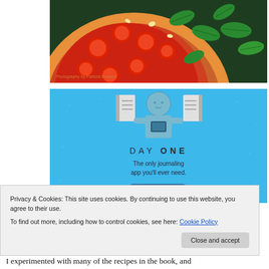[Figure (photo): Top-down photo of a pizza with tomatoes and fresh basil leaves on dark background. Caption reads 'Photography by Patricia Brabant']
[Figure (screenshot): Day One app advertisement on blue background. Shows illustration of person holding phone flanked by notebooks. Text reads 'DAY ONE - The only journaling app you'll ever need.']
Privacy & Cookies: This site uses cookies. By continuing to use this website, you agree to their use.
To find out more, including how to control cookies, see here: Cookie Policy
Close and accept
I experimented with many of the recipes in the book, and